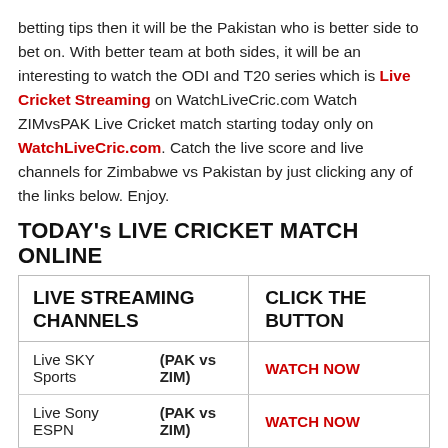betting tips then it will be the Pakistan who is better side to bet on. With better team at both sides, it will be an interesting to watch the ODI and T20 series which is Live Cricket Streaming on WatchLiveCric.com Watch ZIMvsPAK Live Cricket match starting today only on WatchLiveCric.com. Catch the live score and live channels for Zimbabwe vs Pakistan by just clicking any of the links below. Enjoy.
TODAY's LIVE CRICKET MATCH ONLINE
| LIVE STREAMING CHANNELS | CLICK THE BUTTON |
| --- | --- |
| Live SKY Sports | (PAK vs ZIM) | WATCH NOW |
| Live Sony ESPN | (PAK vs ZIM) | WATCH NOW |
| Live Willow HD | (PAK vs ZIM) | WATCH NOW |
| Live STAR Sports | (PAK vs ZIM) | WATCH NOW |